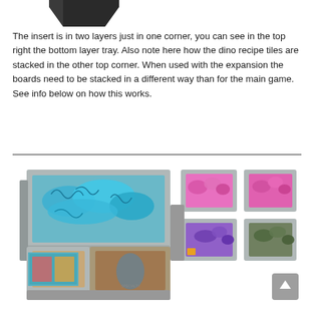[Figure (photo): Partial view of a dark-colored game insert tray corner at the top of the page]
The insert is in two layers just in one corner, you can see in the top right the bottom layer tray. Also note here how the dino recipe tiles are stacked in the other top corner. When used with the expansion the boards need to be stacked in a different way than for the main game. See info below on how this works.
[Figure (photo): Photo of a board game insert organizer system with multiple grey foam-core trays containing colorful game pieces: blue dinosaur meeples in a large tray, pink/magenta pieces in two small trays on the right, purple and green pieces in trays on the right, and cards in a brown-bottomed tray on the lower left. A small grey back-to-top button is in the bottom right corner.]